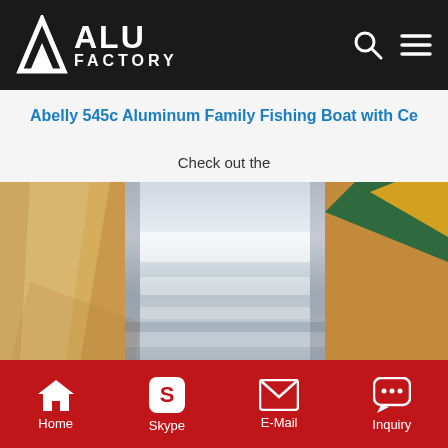ALU FACTORY
Abelly 545c Aluminum Family Fishing Boat with Ce
Check out the
[Figure (photo): Close-up photograph of brushed aluminum sheet material, partially wrapped in brown kraft paper and packaging materials, with green and yellow fabric visible in the upper right corner.]
Home   Skype   E-Mail   Inquiry